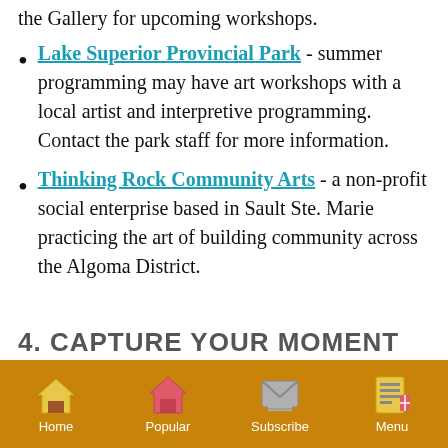the Gallery for upcoming workshops.
Lake Superior Provincial Park - summer programming may have art workshops with a local artist and interpretive programming. Contact the park staff for more information.
Thinking Rock Community Arts - a non-profit social enterprise based in Sault Ste. Marie practicing the art of building community across the Algoma District.
4. CAPTURE YOUR MOMENT
Home | Popular | Subscribe | Menu